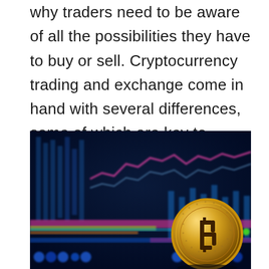why traders need to be aware of all the possibilities they have to buy or sell. Cryptocurrency trading and exchange come in hand with several differences, some of which are key to understand before entering this market.
[Figure (photo): A gold Bitcoin coin in the foreground with a blurred dark blue background showing a cryptocurrency trading chart with colorful lines (pink/magenta) and glowing blue/cyan data panels.]